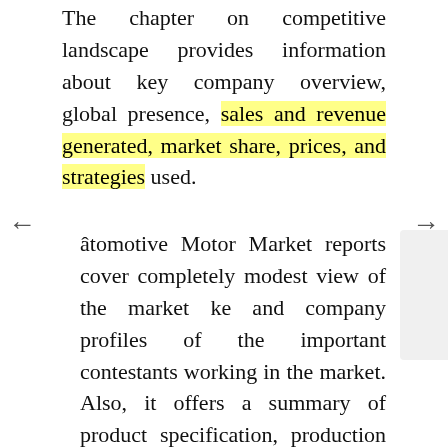The chapter on competitive landscape provides information about key company overview, global presence, sales and revenue generated, market share, prices, and strategies used.
Automotive Motor Market reports cover completely modest view of the market ke and company profiles of the important contestants working in the market. Also, it offers a summary of product specification, production analysis, latest technology, product types, considering market key features such as gross, gross margin, revenue &